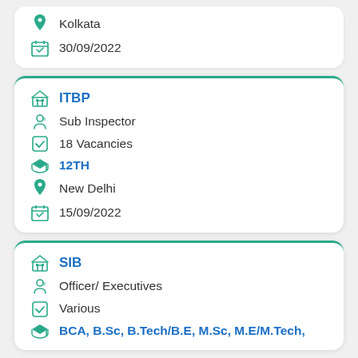Kolkata
30/09/2022
ITBP
Sub Inspector
18 Vacancies
12TH
New Delhi
15/09/2022
SIB
Officer/ Executives
Various
BCA, B.Sc, B.Tech/B.E, M.Sc, M.E/M.Tech,